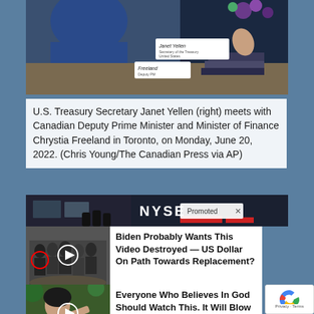[Figure (photo): Photo of U.S. Treasury Secretary Janet Yellen (right) meeting with Canadian Deputy Prime Minister Chrystia Freeland, with name placards visible on a table]
U.S. Treasury Secretary Janet Yellen (right) meets with Canadian Deputy Prime Minister and Minister of Finance Chrystia Freeland in Toronto, on Monday, June 20, 2022. (Chris Young/The Canadian Press via AP)
[Figure (photo): Photo of NYSE trading floor interior with 'Promoted' badge overlay]
[Figure (photo): Advertisement thumbnail: group of people with red circle highlight and play button]
Biden Probably Wants This Video Destroyed — US Dollar On Path Towards Replacement?
[Figure (photo): Advertisement thumbnail: woman pointing with play button overlay]
Everyone Who Believes In God Should Watch This. It Will Blow Your Mind